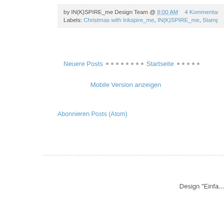by IN{K}SPIRE_me Design Team @ 8:00 AM    4 Kommentare:
Labels: Christmas with Inkspire_me, IN{K}SPIRE_me, Stampin Up Challenge, Th...
Neuere Posts • • • • • • • • Startseite • • • • •
Mobile Version anzeigen
Abonnieren Posts (Atom)
Design "Einfa...